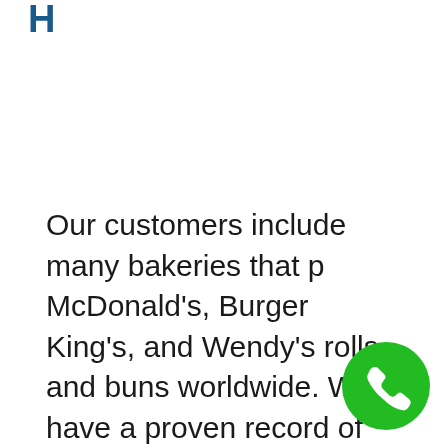H
Our customers include many bakeries that p... McDonald's, Burger King's, and Wendy's rolls and buns worldwide. We have a proven record of